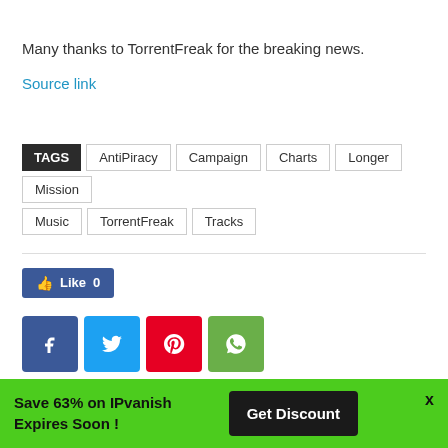Many thanks to TorrentFreak for the breaking news.
Source link
TAGS  AntiPiracy  Campaign  Charts  Longer  Mission  Music  TorrentFreak  Tracks
Like 0
[Figure (infographic): Social sharing icons: Facebook, Twitter, Pinterest, WhatsApp]
Save 63% on IPvanish Expires Soon !  Get Discount  x